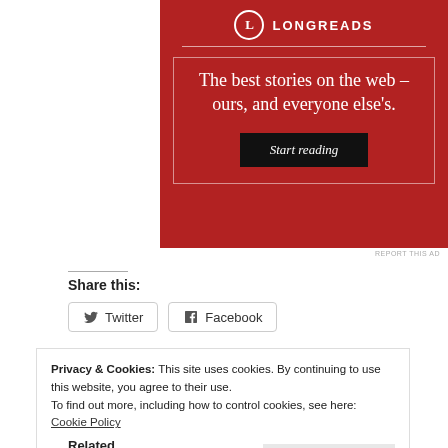[Figure (infographic): Longreads advertisement on red background with tagline 'The best stories on the web – ours, and everyone else's.' and a 'Start reading' button]
Share this:
Twitter   Facebook
Privacy & Cookies: This site uses cookies. By continuing to use this website, you agree to their use.
To find out more, including how to control cookies, see here: Cookie Policy
Close and accept
Related